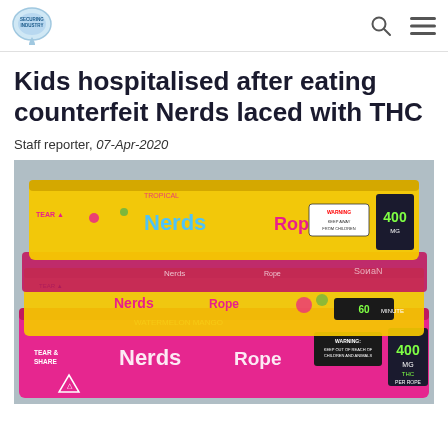Securing Industry — navigation header with logo, search icon, menu icon
Kids hospitalised after eating counterfeit Nerds laced with THC
Staff reporter, 07-Apr-2020
[Figure (photo): Photograph of multiple counterfeit Nerds Rope candy packages in yellow and pink/magenta packaging, labeled with THC content (400mg) and warnings, arranged overlapping on a surface.]